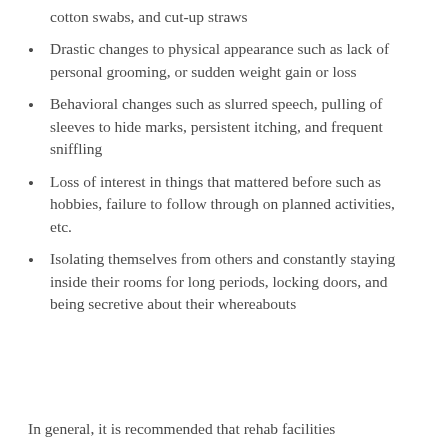cotton swabs, and cut-up straws
Drastic changes to physical appearance such as lack of personal grooming, or sudden weight gain or loss
Behavioral changes such as slurred speech, pulling of sleeves to hide marks, persistent itching, and frequent sniffling
Loss of interest in things that mattered before such as hobbies, failure to follow through on planned activities, etc.
Isolating themselves from others and constantly staying inside their rooms for long periods, locking doors, and being secretive about their whereabouts
In general, it is recommended that rehab facilities